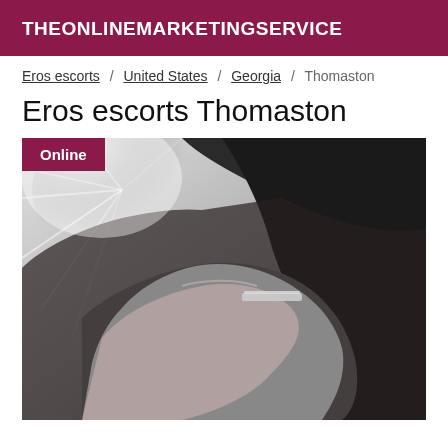THEONLINEMARKETINGSERVICE
Eros escorts / United States / Georgia / Thomaston
Eros escorts Thomaston
[Figure (photo): Black and white photo of a person bending forward, showing upper body/shoulder with a bra strap visible, dramatic lighting with light rays in background. Online badge overlay in top left.]